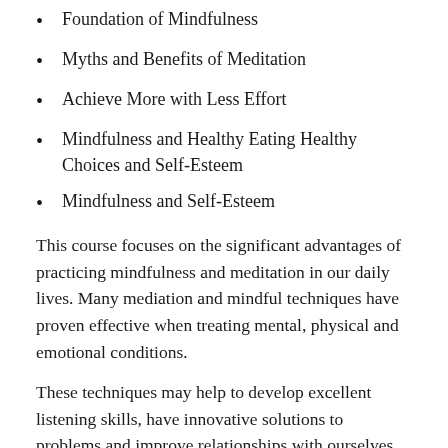Foundation of Mindfulness
Myths and Benefits of Meditation
Achieve More with Less Effort
Mindfulness and Healthy Eating Healthy Choices and Self-Esteem
Mindfulness and Self-Esteem
This course focuses on the significant advantages of practicing mindfulness and meditation in our daily lives. Many mediation and mindful techniques have proven effective when treating mental, physical and emotional conditions.
These techniques may help to develop excellent listening skills, have innovative solutions to problems and improve relationships with ourselves as well as with others.